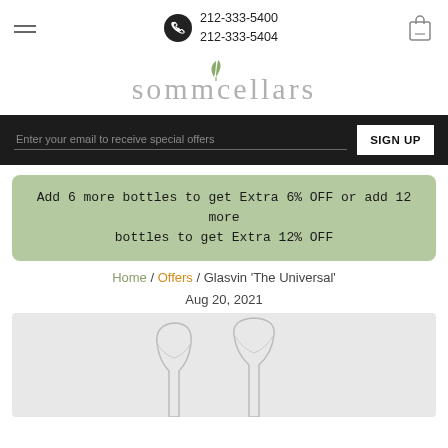212-333-5400 | 212-333-5404
[Figure (logo): sommcellars logo with stylized green plant sprout above the double-m letters]
Enter your email to receive special offers | SIGN UP
Add 6 more bottles to get Extra 6% OFF or add 12 more bottles to get Extra 12% OFF
Home / Offers / Glasvin 'The Universal'
Aug 20, 2021
[Figure (photo): Two clear stemless wine glasses photographed against a light grey background]